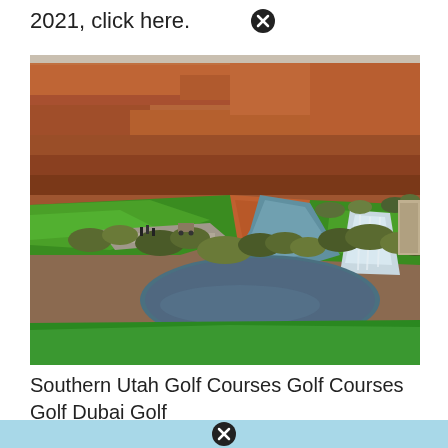2021, click here.
[Figure (photo): Aerial view of a golf course in Southern Utah with red rock cliffs in the background, green fairways, a winding water feature with a small waterfall, and desert vegetation.]
Southern Utah Golf Courses Golf Courses Golf Dubai Golf